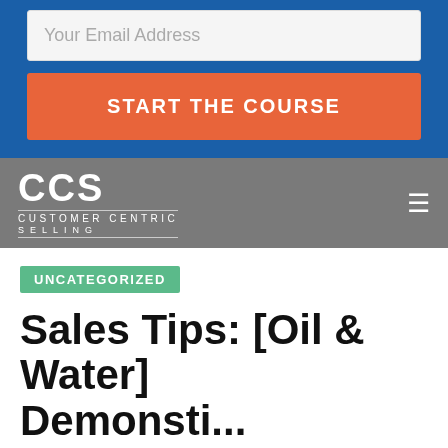[Figure (screenshot): Email address input field with placeholder text 'Your Email Address' on a blue background]
[Figure (screenshot): Orange button with text 'START THE COURSE' on a blue background]
[Figure (logo): CCS Customer Centric Selling logo on gray navigation bar with hamburger menu icon]
UNCATEGORIZED
Sales Tips: [Oil & Water] Demonsti...